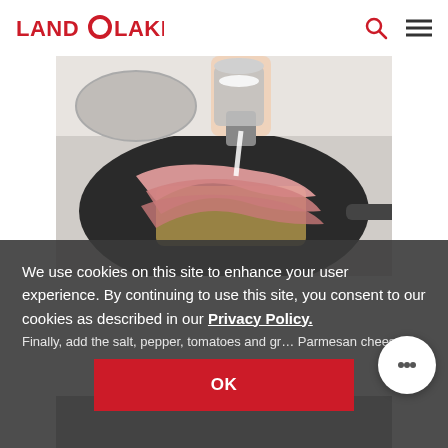[Figure (logo): Land O Lakes logo with red text and circular O in the middle]
[Figure (photo): A hand pouring cream from a small measuring cup into a dark skillet on a stovetop containing strips of meat (bacon/ham) and penne pasta]
We use cookies on this site to enhance your user experience. By continuing to use this site, you consent to our cookies as described in our Privacy Policy.
Finally, add the salt, pepper, tomatoes and gr… Parmesan cheese.
OK